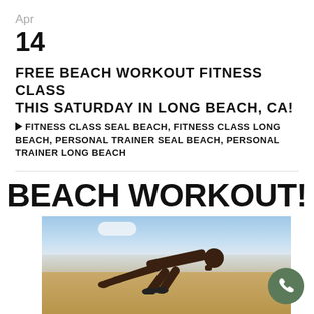Apr
14
FREE BEACH WORKOUT FITNESS CLASS THIS SATURDAY IN LONG BEACH, CA!
FITNESS CLASS SEAL BEACH, FITNESS CLASS LONG BEACH, PERSONAL TRAINER SEAL BEACH, PERSONAL TRAINER LONG BEACH
[Figure (photo): Beach workout promotional image showing 'BEACH WORKOUT!' text at top and a man doing push-ups on a beach with sand, sea, and sky in the background. A green phone FAB button is in the bottom right corner.]